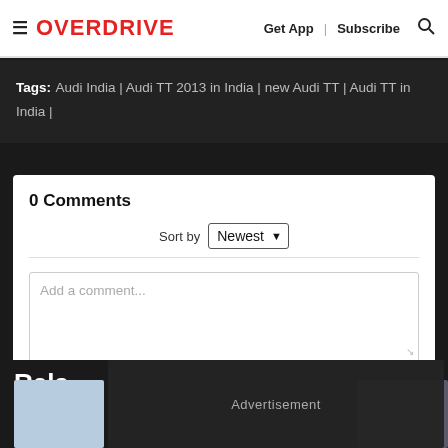≡ OVERDRIVE  Get App | Subscribe 🔍
Tags:  Audi India | Audi TT 2013 in India | new Audi TT | Audi TT in India |
0 Comments
Sort by Newest
Add a comment...
f Facebook Comments Plugin
Rela
Advertisement